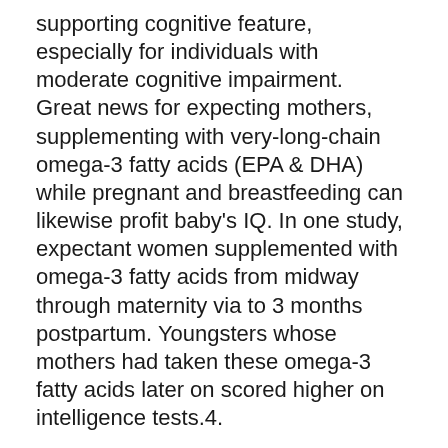supporting cognitive feature, especially for individuals with moderate cognitive impairment. Great news for expecting mothers, supplementing with very-long-chain omega-3 fatty acids (EPA & DHA) while pregnant and breastfeeding can likewise profit baby's IQ. In one study, expectant women supplemented with omega-3 fatty acids from midway through maternity via to 3 months postpartum. Youngsters whose mothers had taken these omega-3 fatty acids later on scored higher on intelligence tests.4.
Joints.
Although fish oil has far-ranging benefits, supporting joint health and wellness is the